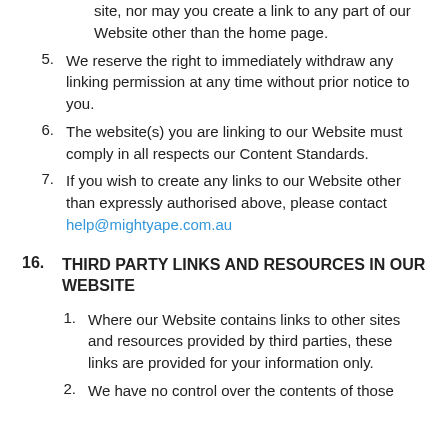site, nor may you create a link to any part of our Website other than the home page.
We reserve the right to immediately withdraw any linking permission at any time without prior notice to you.
The website(s) you are linking to our Website must comply in all respects our Content Standards.
If you wish to create any links to our Website other than expressly authorised above, please contact help@mightyape.com.au
16. THIRD PARTY LINKS AND RESOURCES IN OUR WEBSITE
Where our Website contains links to other sites and resources provided by third parties, these links are provided for your information only.
We have no control over the contents of those